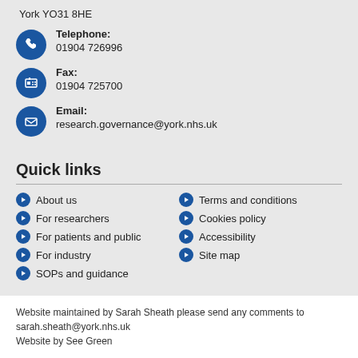York YO31 8HE
Telephone:
01904 726996
Fax:
01904 725700
Email:
research.governance@york.nhs.uk
Quick links
About us
For researchers
For patients and public
For industry
SOPs and guidance
Terms and conditions
Cookies policy
Accessibility
Site map
Website maintained by Sarah Sheath please send any comments to sarah.sheath@york.nhs.uk
Website by See Green